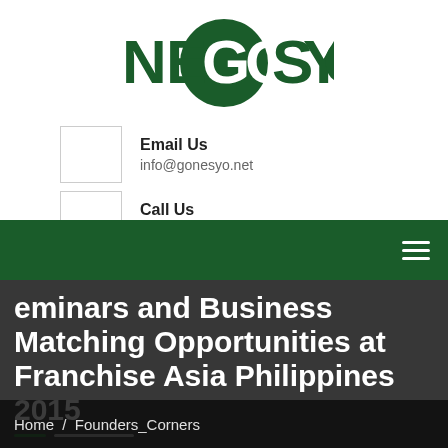[Figure (logo): NEGOSYO logo — dark green bold text with a circle around the 'O']
Email Us
info@gonesyo.net
Call Us
+63 (2) 637 9347
eminars and Business Matching Opportunities at Franchise Asia Philippines 2015
Home / Founders_Corners